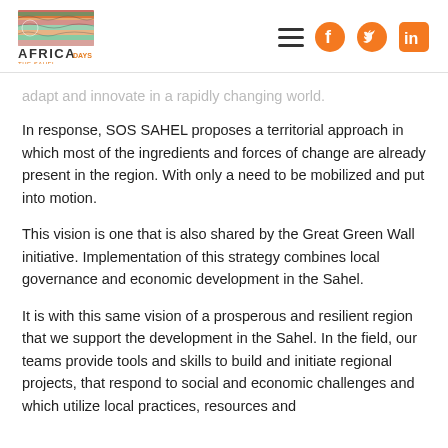Africa The Sahel — navigation header with logo and social icons
adapt and innovate in a rapidly changing world.
In response, SOS SAHEL proposes a territorial approach in which most of the ingredients and forces of change are already present in the region. With only a need to be mobilized and put into motion.
This vision is one that is also shared by the Great Green Wall initiative. Implementation of this strategy combines local governance and economic development in the Sahel.
It is with this same vision of a prosperous and resilient region that we support the development in the Sahel. In the field, our teams provide tools and skills to build and initiate regional projects, that respond to social and economic challenges and which utilize local practices, resources and